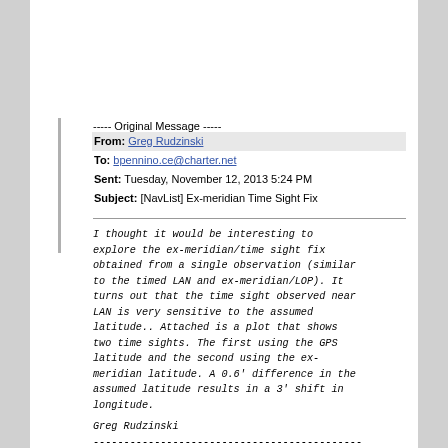----- Original Message -----
From: Greg Rudzinski
To: bpennino.ce@charter.net
Sent: Tuesday, November 12, 2013 5:24 PM
Subject: [NavList] Ex-meridian Time Sight Fix
I thought it would be interesting to explore the ex-meridian/time sight fix obtained from a single observation (similar to the timed LAN and ex-meridian/LOP). It turns out that the time sight observed near LAN is very sensitive to the assumed latitude.. Attached is a plot that shows two time sights. The first using the GPS latitude and the second using the ex-meridian latitude. A 0.6' difference in the assumed latitude results in a 3' shift in longitude.
Greg Rudzinski
--------------------------------------------